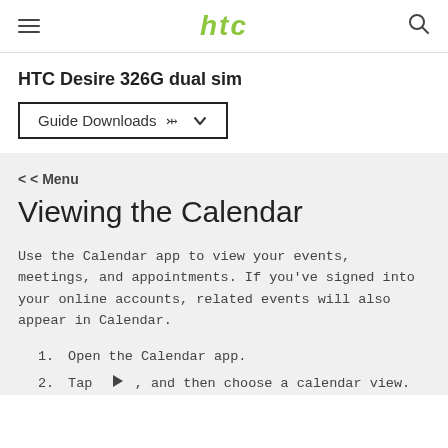htc
HTC Desire 326G dual sim
Guide Downloads
< < Menu
Viewing the Calendar
Use the Calendar app to view your events, meetings, and appointments. If you've signed into your online accounts, related events will also appear in Calendar.
1. Open the Calendar app.
2. Tap ▶, and then choose a calendar view.